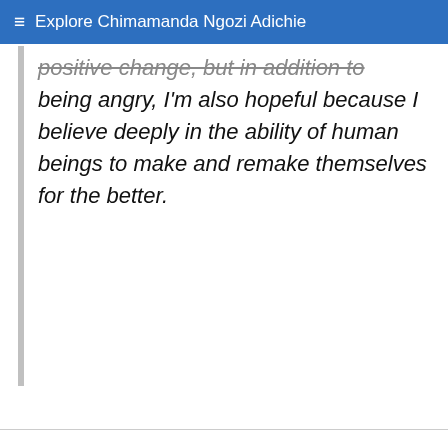≡ Explore Chimamanda Ngozi Adichie
positive change, but in addition to being angry, I'm also hopeful because I believe deeply in the ability of human beings to make and remake themselves for the better.